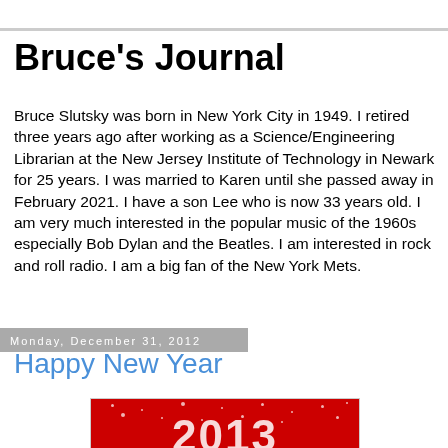Bruce's Journal
Bruce Slutsky was born in New York City in 1949. I retired three years ago after working as a Science/Engineering Librarian at the New Jersey Institute of Technology in Newark for 25 years. I was married to Karen until she passed away in February 2021. I have a son Lee who is now 33 years old. I am very much interested in the popular music of the 1960s especially Bob Dylan and the Beatles. I am interested in rock and roll radio. I am a big fan of the New York Mets.
Monday, December 31, 2012
Happy New Year
[Figure (photo): Red background image with white sparkles and large white numerals '2013' for New Year celebration]